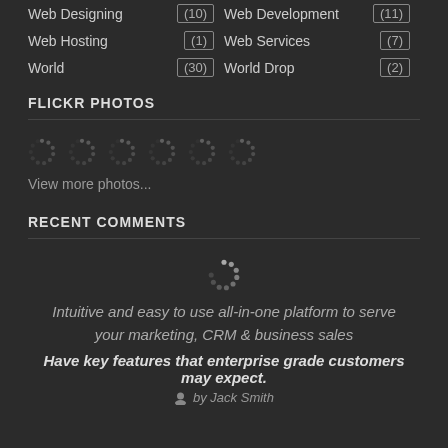Web Designing (10) | Web Development (11)
Web Hosting (1) | Web Services (7)
World (30) | World Drop (2)
FLICKR PHOTOS
[Figure (other): Six loading/spinner icons in a row representing Flickr photos loading]
View more photos...
RECENT COMMENTS
[Figure (other): Single loading/spinner icon representing recent comments loading]
Intuitive and easy to use all-in-one platform to serve your marketing, CRM & business sales
Have key features that enterprise grade customers may expect.
by Jack Smith